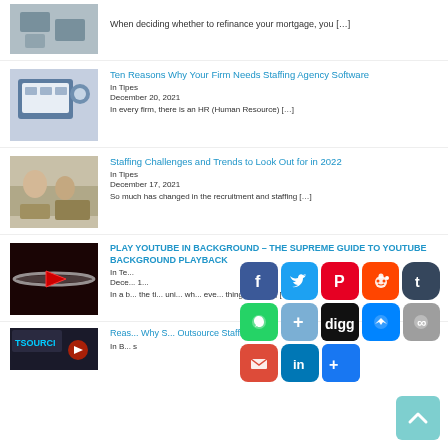[Figure (photo): Thumbnail of a desk/mortgage scene]
When deciding whether to refinance your mortgage, you […]
[Figure (photo): Person at computer with software interface]
Ten Reasons Why Your Firm Needs Staffing Agency Software
In Tipes
December 20, 2021
In every firm, there is an HR (Human Resource) […]
[Figure (photo): Business meeting scene]
Staffing Challenges and Trends to Look Out for in 2022
In Tipes
December 17, 2021
So much has changed in the recruitment and staffing […]
[Figure (photo): YouTube play button glowing red]
PLAY YOUTUBE IN BACKGROUND – THE SUPREME GUIDE TO YOUTUBE BACKGROUND PLAYBACK
In Te...
Dece... 1...
In a b... the ti... uni... wh... eve... thing's perfect, […]
[Figure (photo): Outsource staffing thumbnail]
Reas... Why S... Outsource Staffing
In B... s
[Figure (infographic): Social media share buttons overlay: Facebook, Twitter, Pinterest, Reddit, Tumblr, WhatsApp, Plus, Digg, Messenger, Link, Email, LinkedIn, Share]